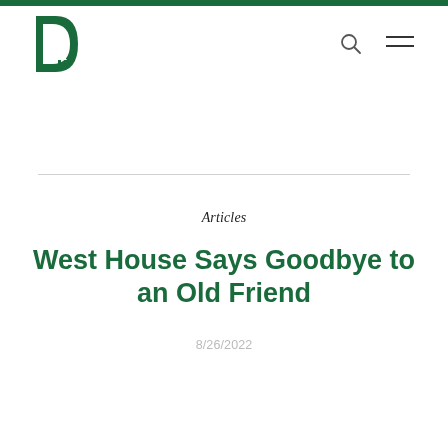Dartmouth college navigation header with logo, search icon, and menu icon
Articles
West House Says Goodbye to an Old Friend
8/26/2022